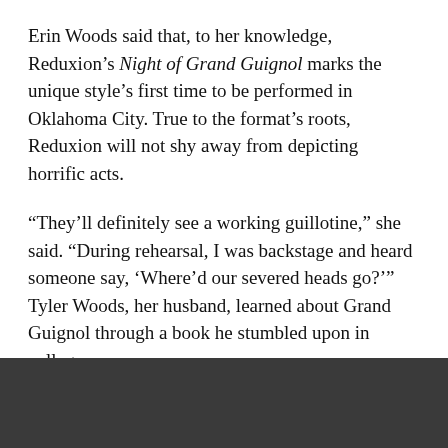Erin Woods said that, to her knowledge, Reduxion's Night of Grand Guignol marks the unique style's first time to be performed in Oklahoma City. True to the format's roots, Reduxion will not shy away from depicting horrific acts.
“They’ll definitely see a working guillotine,” she said. “During rehearsal, I was backstage and heard someone say, ‘Where’d our severed heads go?’” Tyler Woods, her husband, learned about Grand Guignol through a book he stumbled upon in college.
“It was fascinating to me,” he said.
“But it’s never been done here. And what better way to bring it than for our own company to do it?”